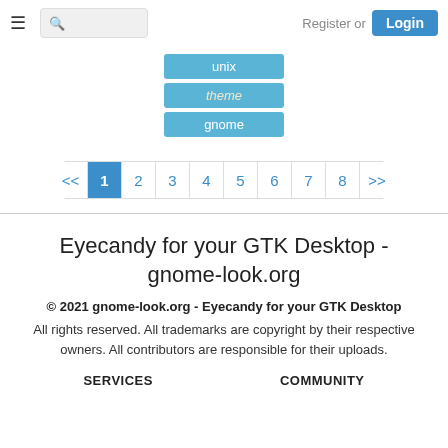Register or Login
unix
theme
gnome
<< 1 2 3 4 5 6 7 8 >>
Eyecandy for your GTK Desktop - gnome-look.org
© 2021 gnome-look.org - Eyecandy for your GTK Desktop
All rights reserved. All trademarks are copyright by their respective owners. All contributors are responsible for their uploads.
SERVICES
COMMUNITY